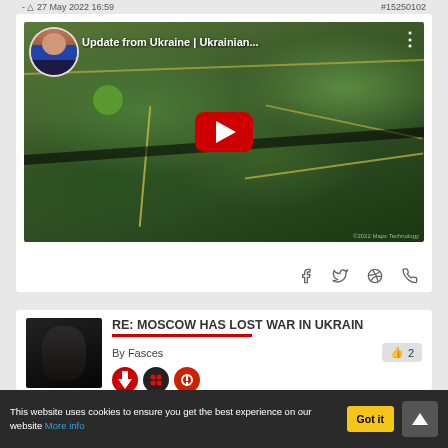27 May 2022 16:59   #15250102
[Figure (screenshot): YouTube video thumbnail showing aerial satellite map view of Ukraine with play button overlay. Video title: 'Update from Ukraine | Ukrainian...' with a user avatar in top-left corner.]
f  (twitter bird)  (reddit alien)  (whatsapp)
RE: MOSCOW HAS LOST WAR IN UKRAIN
By Fasces
2
This website uses cookies to ensure you get the best experience on our website More info
Got it